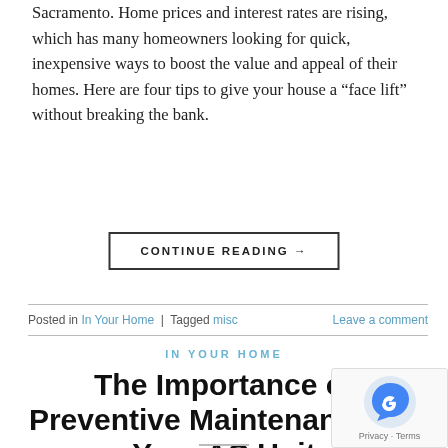Sacramento. Home prices and interest rates are rising, which has many homeowners looking for quick, inexpensive ways to boost the value and appeal of their homes. Here are four tips to give your house a “face lift” without breaking the bank.
CONTINUE READING →
Posted in In Your Home | Tagged misc    Leave a comment
IN YOUR HOME
The Importance of Preventive Maintenance for Your AC Unit
POSTED ON APRIL 14, 2015 BY CALIFORNIA ENERGY SERVICE